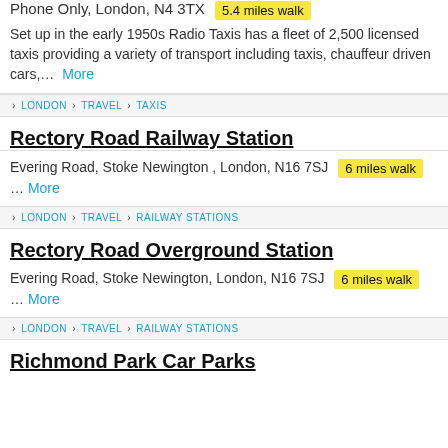Phone Only, London, N4 3TX  5.4 miles walk
Set up in the early 1950s Radio Taxis has a fleet of 2,500 licensed taxis providing a variety of transport including taxis, chauffeur driven cars,... More
LONDON > TRAVEL > TAXIS
Rectory Road Railway Station
Evering Road, Stoke Newington , London, N16 7SJ  6 miles walk
... More
LONDON > TRAVEL > RAILWAY STATIONS
Rectory Road Overground Station
Evering Road, Stoke Newington, London, N16 7SJ  6 miles walk
... More
LONDON > TRAVEL > RAILWAY STATIONS
Richmond Park Car Parks